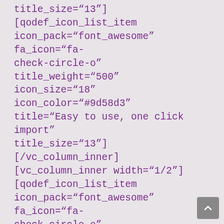title_size="13"][qodef_icon_list_item icon_pack="font_awesome" fa_icon="fa-check-circle-o" title_weight="500" icon_size="18" icon_color="#9d58d3" title="Easy to use, one click import" title_size="13"][/vc_column_inner] [vc_column_inner width="1/2"] [qodef_icon_list_item icon_pack="font_awesome" fa_icon="fa-check-circle-o" title_weight="500" icon_size="18" icon_color="#9d58d3" title="Easy to use, one click import" title_size="13"][qodef_icon_list_item icon_pack="font_awesome" fa_icon="fa-check-circle-o" title_weight="500"